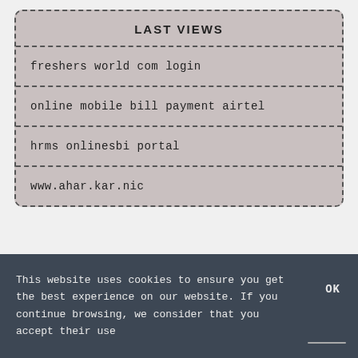LAST VIEWS
freshers world com login
online mobile bill payment airtel
hrms onlinesbi portal
www.ahar.kar.nic
This website uses cookies to ensure you get the best experience on our website. If you continue browsing, we consider that you accept their use